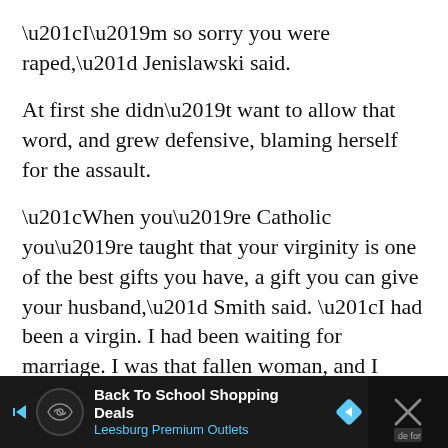“I’m so sorry you were raped,” Jenislawski said.
At first she didn’t want to allow that word, and grew defensive, blaming herself for the assault.
“When you’re Catholic you’re taught that your virginity is one of the best gifts you have, a gift you can give your husband,” Smith said. “I had been a virgin. I had been waiting for marriage. I was that fallen woman, and I didn’t want my parents to see me that way. That was not how my parents were, but sex assault is unique crime. The victims always blame themselves.”
[Figure (other): Advertisement banner for Back To School Shopping Deals at Leesburg Premium Outlets with navigation arrows and close button]